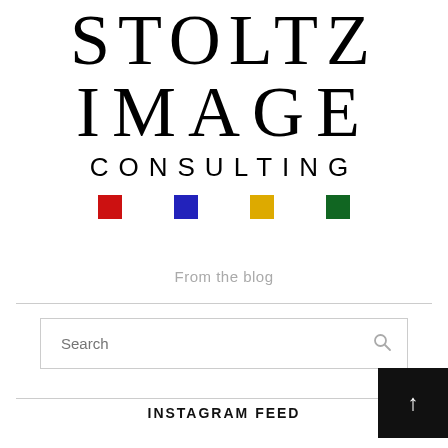[Figure (logo): Stoltz Image Consulting logo with large serif lettering showing STOLTZ on top, IMAGE below, then CONSULTING in sans-serif, with four colored squares (red, blue, yellow, green) beneath]
From the blog
Search
INSTAGRAM FEED